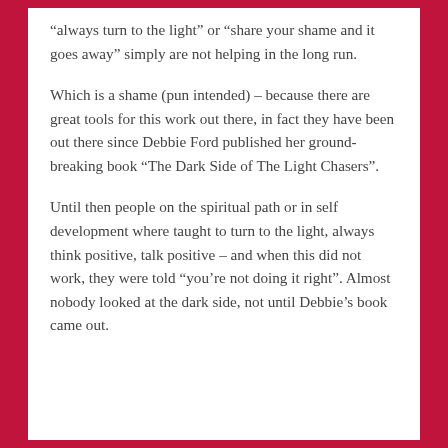“always turn to the light” or “share your shame and it goes away” simply are not helping in the long run.
Which is a shame (pun intended) – because there are great tools for this work out there, in fact they have been out there since Debbie Ford published her ground-breaking book “The Dark Side of The Light Chasers”.
Until then people on the spiritual path or in self development where taught to turn to the light, always think positive, talk positive – and when this did not work, they were told “you’re not doing it right”. Almost nobody looked at the dark side, not until Debbie’s book came out.